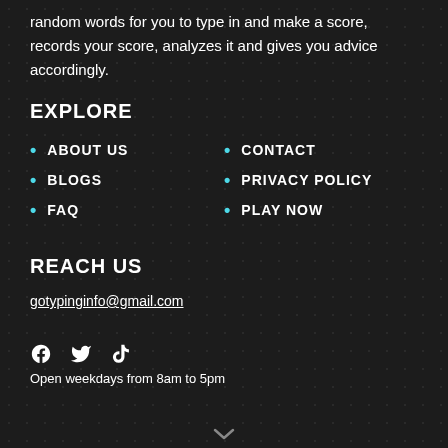random words for you to type in and make a score, records your score, analyzes it and gives you advice accordingly.
EXPLORE
ABOUT US
BLOGS
FAQ
CONTACT
PRIVACY POLICY
PLAY NOW
REACH US
gotypinginfo@gmail.com
Open weekdays from 8am to 5pm